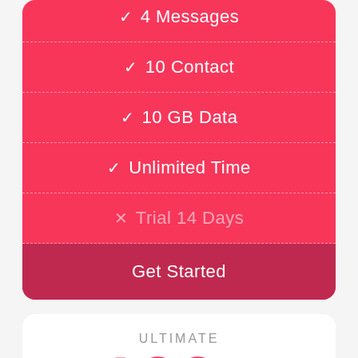✓ 4 Messages
✓ 10 Contact
✓ 10 GB Data
✓ Unlimited Time
✗ Trial 14 Days
Get Started
ULTIMATE
$199 /Month